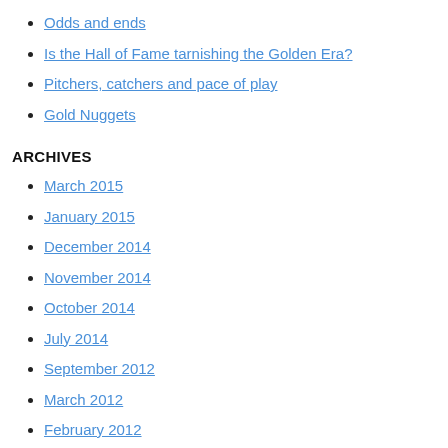Odds and ends
Is the Hall of Fame tarnishing the Golden Era?
Pitchers, catchers and pace of play
Gold Nuggets
ARCHIVES
March 2015
January 2015
December 2014
November 2014
October 2014
July 2014
September 2012
March 2012
February 2012
January 2012